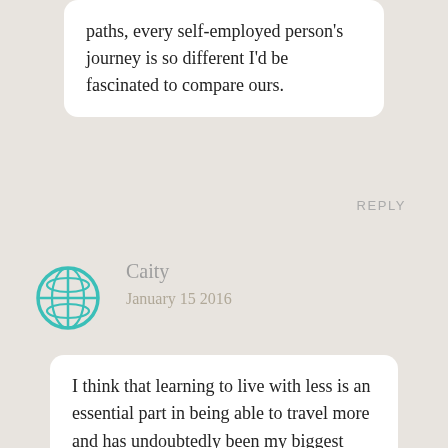paths, every self-employed person's journey is so different I'd be fascinated to compare ours.
REPLY
Caity
January 15 2016
[Figure (illustration): Teal globe/world icon avatar]
I think that learning to live with less is an essential part in being able to travel more and has undoubtedly been my biggest factor.
For me, in large part inspired by your blog, I have big sights on destinations far and wide. However, at the moment that is not obtainable. So rather than get all money about not getting to